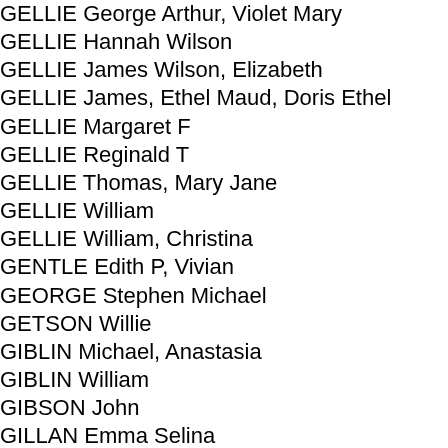GELLIE George Arthur, Violet Mary
GELLIE Hannah Wilson
GELLIE James Wilson, Elizabeth
GELLIE James, Ethel Maud, Doris Ethel
GELLIE Margaret F
GELLIE Reginald T
GELLIE Thomas, Mary Jane
GELLIE William
GELLIE William, Christina
GENTLE Edith P, Vivian
GEORGE Stephen Michael
GETSON Willie
GIBLIN Michael, Anastasia
GIBLIN William
GIBSON John
GILLAN Emma Selina
GILLIGAN Brian M
GILLIGAN Carmel, John
GILLINGHAM Ernest, Emma
GILLINGHAM Norman Ernest
GILMOUR T H - died 1959
GILSON Basil John